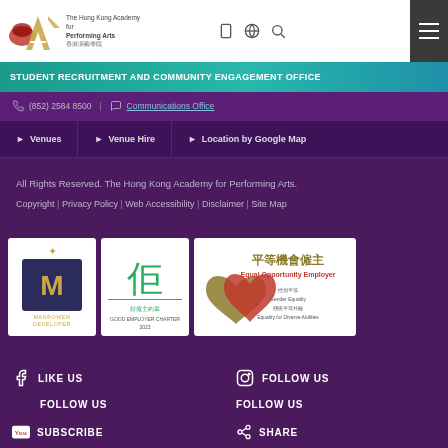The Hong Kong Academy for Performing Arts
STUDENT RECRUITMENT AND COMMUNITY ENGAGEMENT OFFICE
(852) 2584 8500 | Communications Office
Venues | Venue Hire | Location by Google Map
All Rights Reserved. The Hong Kong Academy for Performing Arts.
Copyright | Privacy Policy | Web Accessibility | Disclaimer | Site Map
[Figure (logo): Manpower Developer logo, Good Employer Charter logo, Equal Opportunity Employer logo with Chinese text]
LIKE US | FOLLOW US | FOLLOW US | FOLLOW US | SUBSCRIBE | SHARE